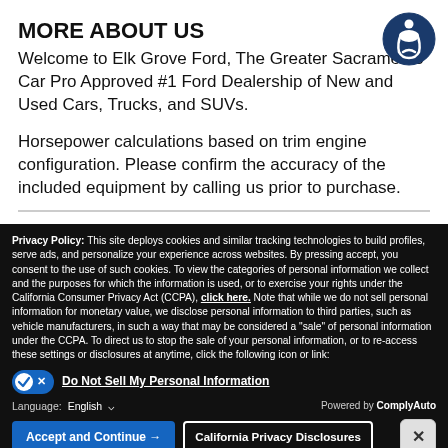MORE ABOUT US
Welcome to Elk Grove Ford, The Greater Sacramento Car Pro Approved #1 Ford Dealership of New and Used Cars, Trucks, and SUVs.
Horsepower calculations based on trim engine configuration. Please confirm the accuracy of the included equipment by calling us prior to purchase.
Privacy Policy: This site deploys cookies and similar tracking technologies to build profiles, serve ads, and personalize your experience across websites. By pressing accept, you consent to the use of such cookies. To view the categories of personal information we collect and the purposes for which the information is used, or to exercise your rights under the California Consumer Privacy Act (CCPA), click here. Note that while we do not sell personal information for monetary value, we disclose personal information to third parties, such as vehicle manufacturers, in such a way that may be considered a "sale" of personal information under the CCPA. To direct us to stop the sale of your personal information, or to re-access these settings or disclosures at anytime, click the following icon or link:
Do Not Sell My Personal Information
Language: English
Powered by ComplyAuto
Accept and Continue → | California Privacy Disclosures